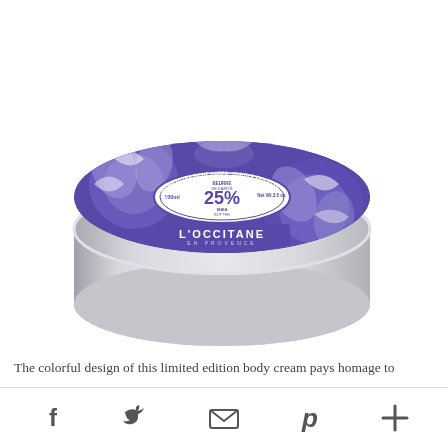[Figure (photo): L'Occitane Subtle Violet Ultra Rich Body Cream in a round silver tin with purple floral design on the lid. 25% Shea Butter, 100ml / Net Wt. 3.5 oz. L'Occitane En Provence branding visible on lid.]
The colorful design of this limited edition body cream pays homage to
[Figure (infographic): Social sharing bar with Facebook, Twitter, Email, Pinterest, and More icons]